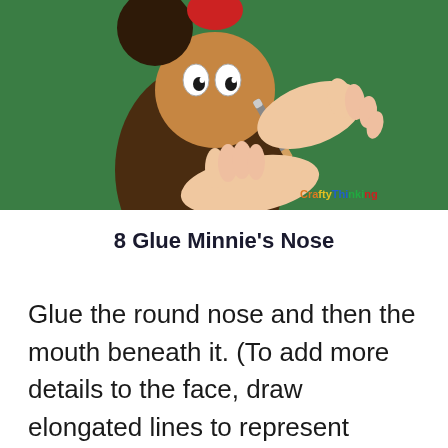[Figure (photo): A person's hands drawing details on a paper craft of Minnie Mouse on a green background. The craft shows a brown Minnie Mouse body with white eyes, a red bow, and a pencil being used to draw nose/mouth details. Watermark 'CraftyThinking' visible in bottom right.]
8 Glue Minnie's Nose
Glue the round nose and then the mouth beneath it. (To add more details to the face, draw elongated lines to represent